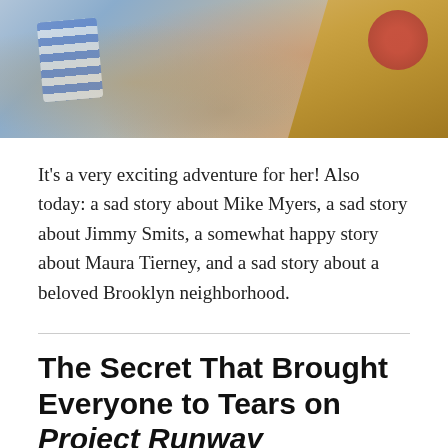[Figure (photo): Blurred close-up photo of people, showing blonde hair, striped clothing, and red fabric details]
It's a very exciting adventure for her! Also today: a sad story about Mike Myers, a sad story about Jimmy Smits, a somewhat happy story about Maura Tierney, and a sad story about a beloved Brooklyn neighborhood.
The Secret That Brought Everyone to Tears on Project Runway
Emily Chen · 10/01/10 02:15AM